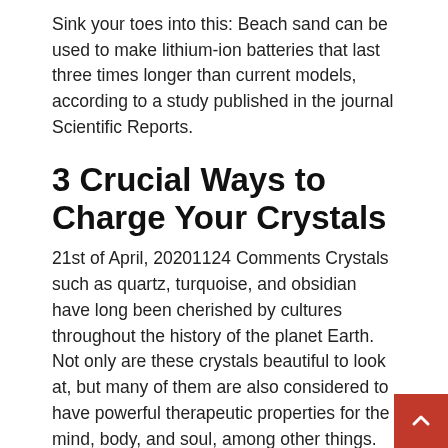Sink your toes into this: Beach sand can be used to make lithium-ion batteries that last three times longer than current models, according to a study published in the journal Scientific Reports.
3 Crucial Ways to Charge Your Crystals
21st of April, 20201124 Comments Crystals such as quartz, turquoise, and obsidian have long been cherished by cultures throughout the history of the planet Earth. Not only are these crystals beautiful to look at, but many of them are also considered to have powerful therapeutic properties for the mind, body, and soul, among other things. However